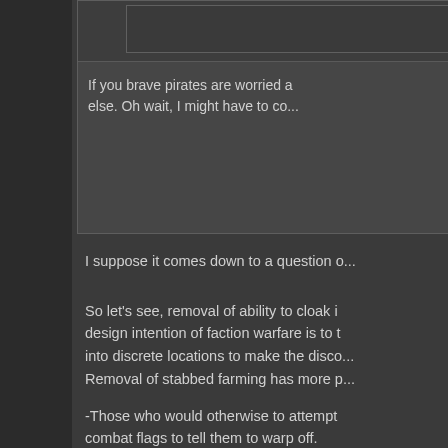If you brave pirates are worried a... else. Oh wait, I might have to co...
I suppose it comes down to a question o...
So let's see, removal of ability to cloak i... design intention of faction warfare is to t... into discrete locations to make the disco...
Removal of stabbed farming has more p...
-Those who would otherwise to attempt... combat flags to tell them to warp off.
-Those who watch their client and keep...
-Most PvP pilots are not looking to catc... signature, a ship which is never to be he... mids), the PvP pilot is locked into fightin... than having a swarm of NPCs in a site...